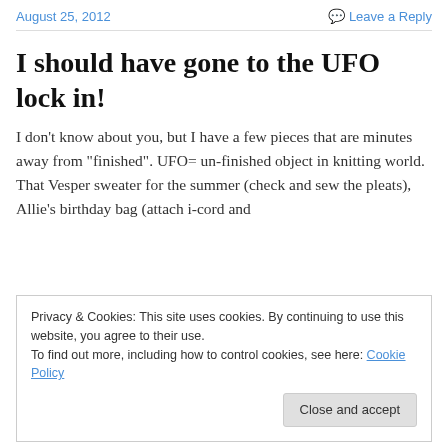August 25, 2012   Leave a Reply
I should have gone to the UFO lock in!
I don't know about you, but I have a few pieces that are minutes away from "finished". UFO= un-finished object in knitting world. That Vesper sweater for the summer (check and sew the pleats), Allie's birthday bag (attach i-cord and
Privacy & Cookies: This site uses cookies. By continuing to use this website, you agree to their use.
To find out more, including how to control cookies, see here: Cookie Policy